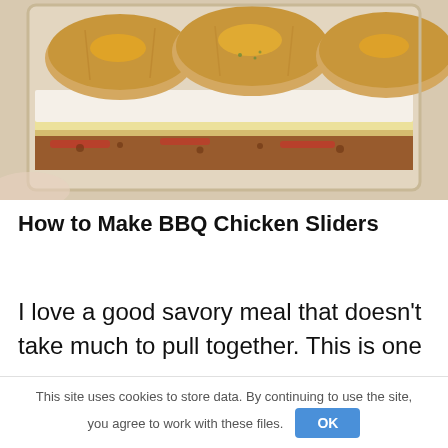[Figure (photo): BBQ chicken sliders in a glass baking dish — rows of slider buns with glaze on top, visible red onion and BBQ meat filling underneath, cheese layer visible]
How to Make BBQ Chicken Sliders
I love a good savory meal that doesn't take much to pull together. This is one
This site uses cookies to store data. By continuing to use the site, you agree to work with these files.